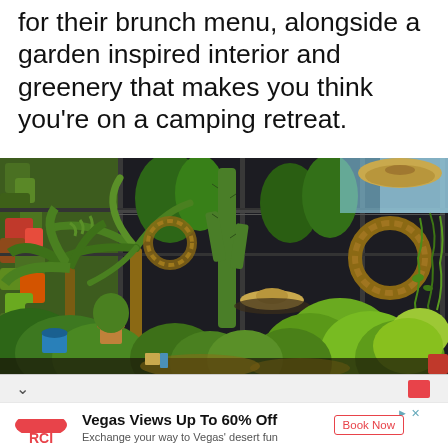for their brunch menu, alongside a garden inspired interior and greenery that makes you think you're on a camping retreat.
[Figure (photo): Interior of a lush garden-themed café or restaurant filled with abundant tropical plants including palms, cacti, hanging plants, ferns, and large-leafed plants. The space features dark metal framing, a living green wall in the background, hanging wicker and woven decorations, straw hats, and small tables visible among the greenery. Natural light streams in from large windows above.]
Vegas Views Up To 60% Off
Exchange your way to Vegas' desert fun